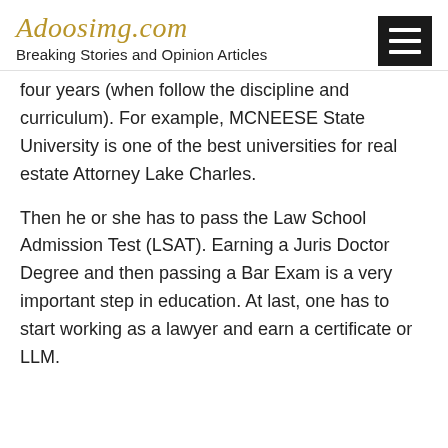Adoosimg.com
Breaking Stories and Opinion Articles
four years (when follow the discipline and curriculum). For example, MCNEESE State University is one of the best universities for real estate Attorney Lake Charles.
Then he or she has to pass the Law School Admission Test (LSAT). Earning a Juris Doctor Degree and then passing a Bar Exam is a very important step in education. At last, one has to start working as a lawyer and earn a certificate or LLM.